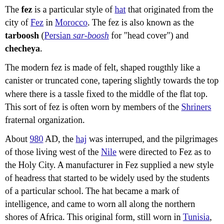The fez is a particular style of hat that originated from the city of Fez in Morocco. The fez is also known as the tarboosh (Persian sar-boosh for "head cover") and checheya.
The modern fez is made of felt, shaped rougthly like a canister or truncated cone, tapering slightly towards the top where there is a tassle fixed to the middle of the flat top. This sort of fez is often worn by members of the Shriners fraternal organization.
About 980 AD, the haj was interruped, and the pilgrimages of those living west of the Nile were directed to Fez as to the Holy City. A manufacturer in Fez supplied a new style of headress that started to be widely used by the students of a particular school. The hat became a mark of intelligence, and came to worn all along the northern shores of Africa. This original form, still worn in Tunisia, Tripoli and Morocco, are two or three times longer than the ones most people think of, and have much longer and heavier silk tassels.
In 1826 Sultan Mahmud II of the Ottoman Empire was looking to break with tradition and update the official dress of the empire's civil service. He originally looked at a three-cornered hat of European descent, but his advisors pointed out that the three corners represented the holy trinity and he reconsidered. A shipment of fezzes had recently arrived from Tunisia, so they were selected instead. It was considered the special badge of a Turkish subject and